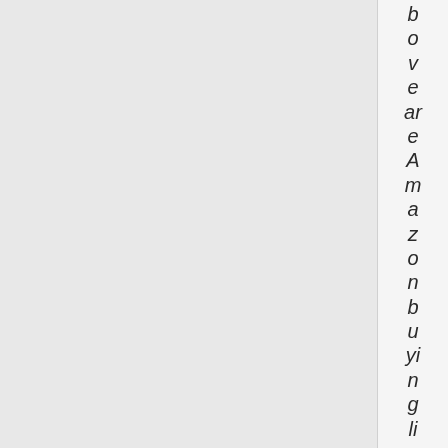bove are Amazon buying links. We appreciat